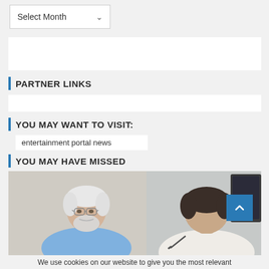Select Month
PARTNER LINKS
YOU MAY WANT TO VISIT:
entertainment portal news
YOU MAY HAVE MISSED
[Figure (photo): Two men in a meeting — an older man with white beard and glasses in a blue sweater facing a younger man seen from behind, at a desk]
We use cookies on our website to give you the most relevant